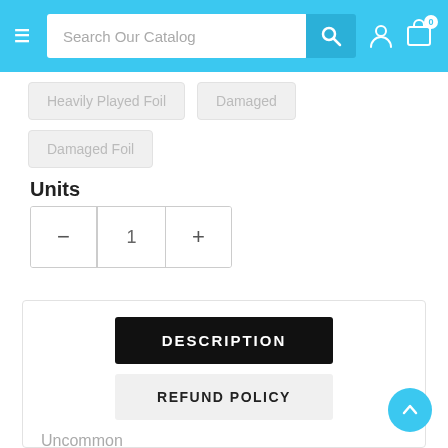Search Our Catalog
Heavily Played Foil
Damaged
Damaged Foil
Units
- 1 +
DESCRIPTION
REFUND POLICY
Uncommon
| Set: | Theros |
| --- | --- |
| Set: | Theros |
| Type |  |